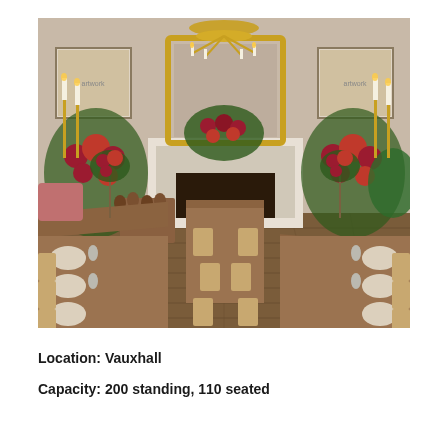[Figure (photo): Interior of an elegant dining room set for an event. Long wooden farmhouse tables are set with plates, glasses, and cutlery on either side of a central aisle. Wooden chairs line both tables. Tall floral arrangements with red roses and greenery decorate the tables. A large gold ornate chandelier hangs from the ceiling, with candelabras and floral garlands on a white fireplace mantelpiece in the background. Framed black and white artworks hang on the walls. Wood logs are stacked to the left. The floor is wide-plank dark wood.]
Location: Vauxhall
Capacity: 200 standing, 110 seated